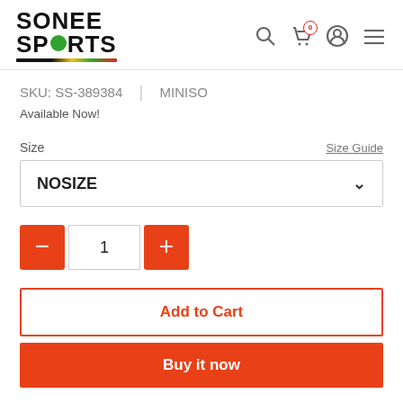[Figure (logo): Sonee Sports logo with green circle in SPORTS text and multicolor underline]
SKU: SS-389384  |  MINISO
Available Now!
Size
Size Guide
NOSIZE
1
Add to Cart
Buy it now